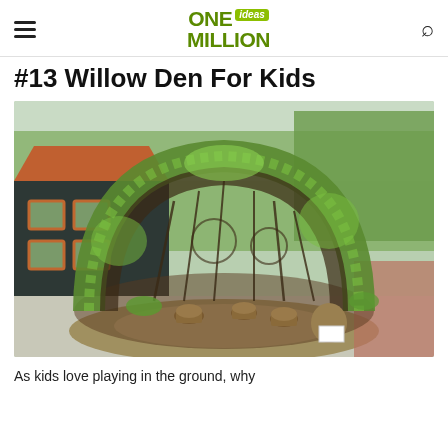ONE ideas MILLION
#13 Willow Den For Kids
[Figure (photo): A large dome-shaped willow den structure covered in green leaves, with woven branches forming an archway. Inside are wooden log stools and a wooden deck floor. Behind the structure is a dark wooden house with orange-trimmed windows and tall green trees in the background. The surrounding ground is white gravel with a circular mulched bed around the den.]
As kids love playing in the ground, why